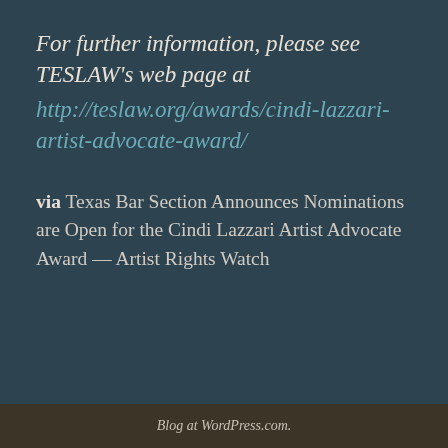For further information, please see TESLAW's web page at http://teslaw.org/awards/cindi-lazzari-artist-advocate-award/
via Texas Bar Section Announces Nominations are Open for the Cindi Lazzari Artist Advocate Award — Artist Rights Watch
Blog at WordPress.com.